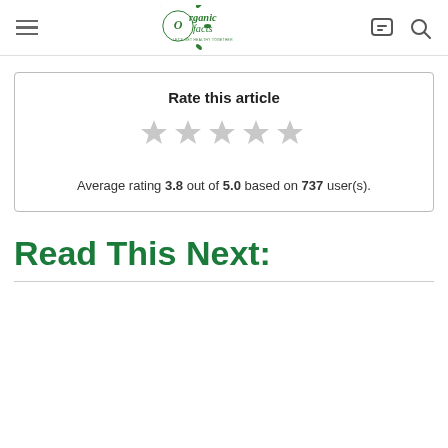Organic Facts — Let's Get Healthy Together
Rate this article
[Figure (other): Five grey stars for article rating]
Average rating 3.8 out of 5.0 based on 737 user(s).
Read This Next: